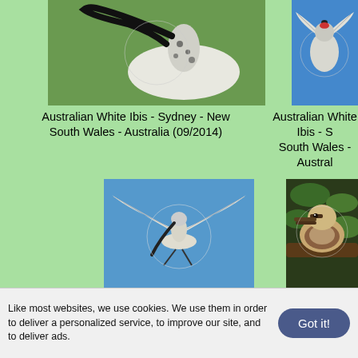[Figure (photo): Australian White Ibis bird close-up showing curved black beak and white feathers, outdoors on grass]
Australian White Ibis - Sydney - New South Wales - Australia (09/2014)
[Figure (photo): Australian White Ibis shown from below against blue sky, wings spread]
Australian White Ibis - S... South Wales - Austral...
[Figure (photo): Australian White Ibis in flight against blue sky, wings spread wide]
[Figure (photo): Kookaburra bird perched, brown and white patterned feathers, surrounded by green foliage]
Kookaburra - Spe... Queensland - Australi...
Like most websites, we use cookies. We use them in order to deliver a personalized service, to improve our site, and to deliver ads.